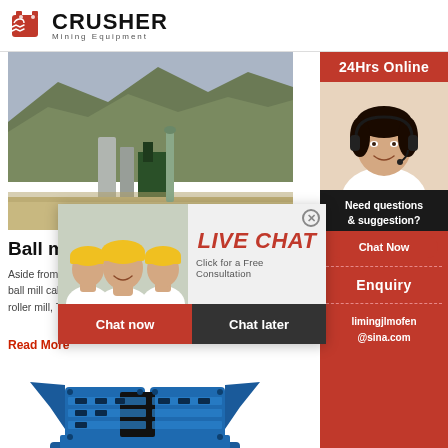[Figure (logo): Crusher Mining Equipment logo with red shopping bag icon and bold text]
[Figure (photo): Mining site with industrial silos, buildings, and hillside terrain]
Ball mill
Aside from common ball mills there is a second type of ball mill called a planetary ball mill. ... smaller ... Vertical roller mill, Tumble ...
Read More
[Figure (photo): Blue industrial hammer crusher machine]
[Figure (photo): Live Chat popup overlay with construction workers photo and chat buttons]
[Figure (photo): Right sidebar with customer service agent, 24Hrs Online banner, chat now button, enquiry link, and email limingjlmofen@sina.com]